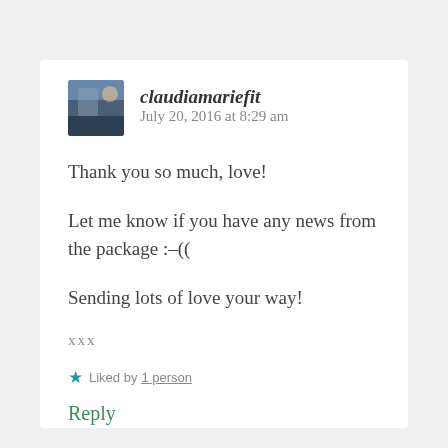claudiamariefit   July 20, 2016 at 8:29 am
Thank you so much, love!
Let me know if you have any news from the package :-((
Sending lots of love your way!
xxx
★ Liked by 1 person
Reply